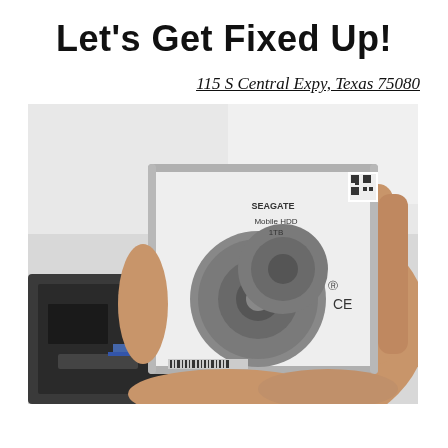Let's Get Fixed Up!
115 S Central Expy, Texas 75080
[Figure (photo): A hand holding a Seagate Mobile HDD 1TB 2.5-inch SATA hard disk drive, with a disassembled laptop/device visible in the background on a white table.]